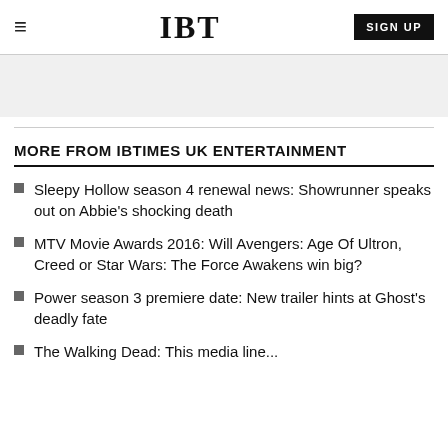IBT | SIGN UP
MORE FROM IBTIMES UK ENTERTAINMENT
Sleepy Hollow season 4 renewal news: Showrunner speaks out on Abbie's shocking death
MTV Movie Awards 2016: Will Avengers: Age Of Ultron, Creed or Star Wars: The Force Awakens win big?
Power season 3 premiere date: New trailer hints at Ghost's deadly fate
The Walking Dead: This media line...